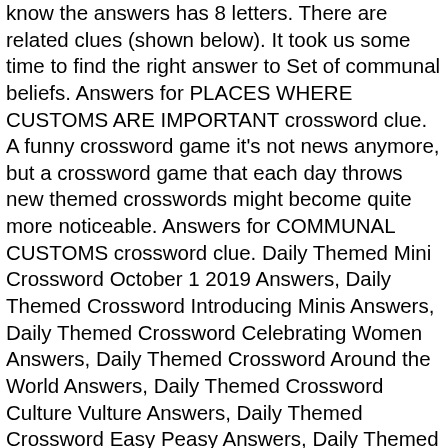know the answers has 8 letters. There are related clues (shown below). It took us some time to find the right answer to Set of communal beliefs. Answers for PLACES WHERE CUSTOMS ARE IMPORTANT crossword clue. A funny crossword game it's not news anymore, but a crossword game that each day throws new themed crosswords might become quite more noticeable. Answers for COMMUNAL CUSTOMS crossword clue. Daily Themed Mini Crossword October 1 2019 Answers, Daily Themed Crossword Introducing Minis Answers, Daily Themed Crossword Celebrating Women Answers, Daily Themed Crossword Around the World Answers, Daily Themed Crossword Culture Vulture Answers, Daily Themed Crossword Easy Peasy Answers, Daily Themed Crossword Halloween Minis Answers, Daily Themed Crossword Happy Holidays Answers, Daily Themed Crossword Mini Masters Answers, Daily Themed Crossword Musical Minis Answers, Daily Themd Crossword Musical Mondays Answers, Daily Themed Crossword Retro Saturdays Answers, Daily Themed Crossword Bibliophile's Minis Answers, Daily Themed Crossword Et lebdo Wo Answers, Daily Themed Minis